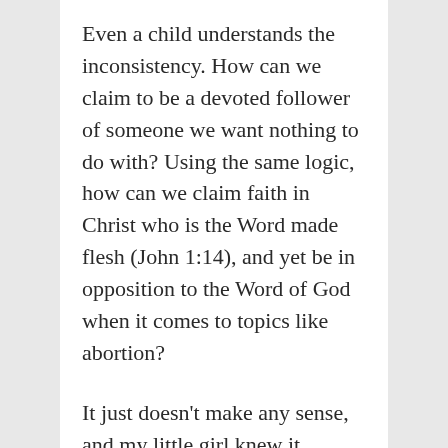Even a child understands the inconsistency. How can we claim to be a devoted follower of someone we want nothing to do with? Using the same logic, how can we claim faith in Christ who is the Word made flesh (John 1:14), and yet be in opposition to the Word of God when it comes to topics like abortion?
It just doesn't make any sense, and my little girl knew it.
Of course as adults, there will always